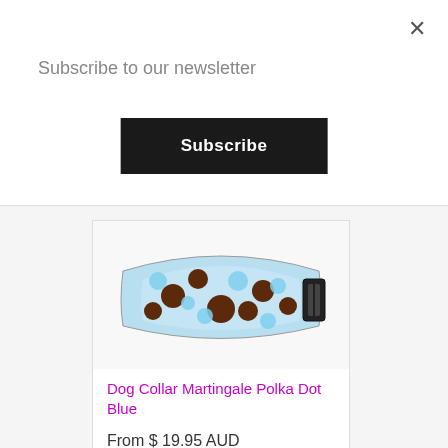×
Subscribe to our newsletter
Subscribe
[Figure (photo): A blue polka dot dog collar (martingale style) with brown and light blue dots on a white background]
Dog Collar Martingale Polka Dot Blue
From $ 19.95 AUD
See Options